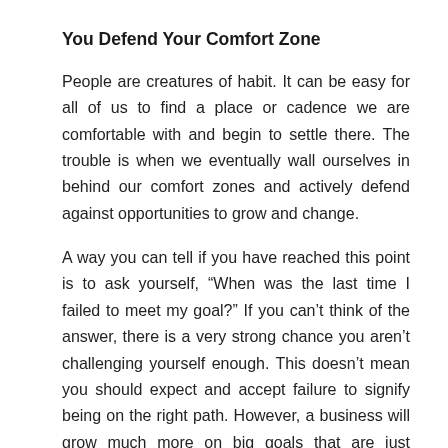You Defend Your Comfort Zone
People are creatures of habit. It can be easy for all of us to find a place or cadence we are comfortable with and begin to settle there. The trouble is when we eventually wall ourselves in behind our comfort zones and actively defend against opportunities to grow and change.
A way you can tell if you have reached this point is to ask yourself, “When was the last time I failed to meet my goal?” If you can’t think of the answer, there is a very strong chance you aren’t challenging yourself enough. This doesn’t mean you should expect and accept failure to signify being on the right path. However, a business will grow much more on big goals that are just missed than it will on small